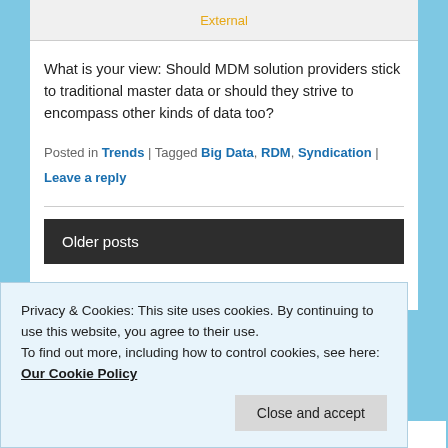[Figure (illustration): Partial image at top with 'External' label in orange/yellow text on gray background]
What is your view: Should MDM solution providers stick to traditional master data or should they strive to encompass other kinds of data too?
Posted in Trends | Tagged Big Data, RDM, Syndication | Leave a reply
Older posts
Privacy & Cookies: This site uses cookies. By continuing to use this website, you agree to their use.
To find out more, including how to control cookies, see here: Our Cookie Policy
Close and accept
Enter your email address to follow this blog and receive